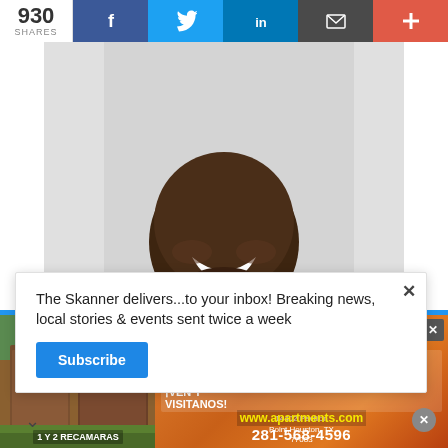930 SHARES  f  t  in  [email]  +
[Figure (photo): Close-up portrait photo of a smiling Black man wearing a blue shirt and dark blazer, cropped from shoulders to top of head]
The Skanner delivers...to your inbox! Breaking news, local stories & events sent twice a week
Subscribe
[Figure (infographic): Advertisement for Sedona Apartments: '¡RENTA TU APARTAMENTO! Y MÚDATE HOY! ¡VEN Y VISITANOS! 14402 Pavilion Point, Houston, TX 77083 www.apartments.com 281-568-4596 1 Y 2 RECAMARAS']